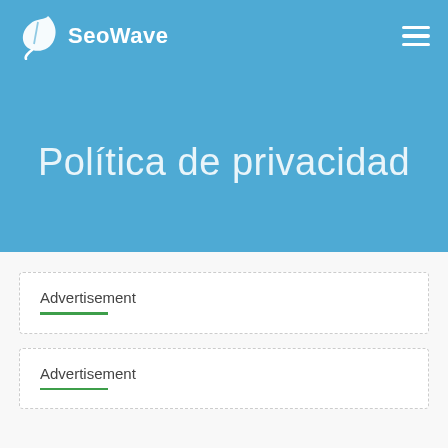SeoWave
Política de privacidad
Advertisement
Advertisement